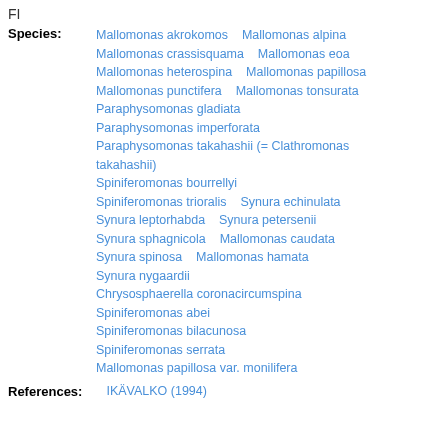FI
Species: Mallomonas akrokomos  Mallomonas alpina  Mallomonas crassisquama  Mallomonas eoa  Mallomonas heterospina  Mallomonas papillosa  Mallomonas punctifera  Mallomonas tonsurata  Paraphysomonas gladiata  Paraphysomonas imperforata  Paraphysomonas takahashii (= Clathromonas takahashii)  Spiniferomonas bourrellyi  Spiniferomonas trioralis  Synura echinulata  Synura leptorhabda  Synura petersenii  Synura sphagnicola  Mallomonas caudata  Synura spinosa  Mallomonas hamata  Synura nygaardii  Chrysosphaerella coronacircumspina  Spiniferomonas abei  Spiniferomonas bilacunosa  Spiniferomonas serrata  Mallomonas papillosa var. monilifera
References: IKÄVALKO (1994)